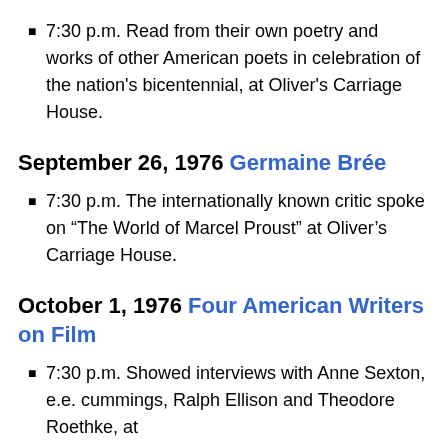7:30 p.m. Read from their own poetry and works of other American poets in celebration of the nation's bicentennial, at Oliver's Carriage House.
September 26, 1976 Germaine Brée
7:30 p.m. The internationally known critic spoke on “The World of Marcel Proust” at Oliver’s Carriage House.
October 1, 1976 Four American Writers on Film
7:30 p.m. Showed interviews with Anne Sexton, e.e. cummings, Ralph Ellison and Theodore Roethke, at